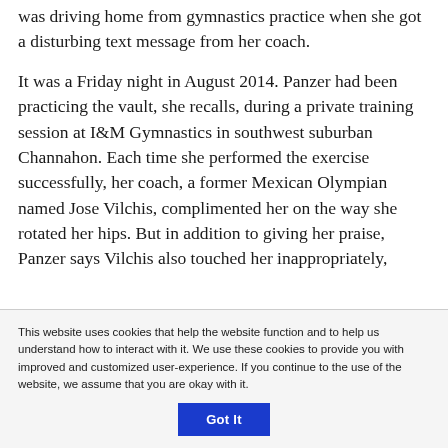was driving home from gymnastics practice when she got a disturbing text message from her coach.
It was a Friday night in August 2014. Panzer had been practicing the vault, she recalls, during a private training session at I&M Gymnastics in southwest suburban Channahon. Each time she performed the exercise successfully, her coach, a former Mexican Olympian named Jose Vilchis, complimented her on the way she rotated her hips. But in addition to giving her praise, Panzer says Vilchis also touched her inappropriately,
This website uses cookies that help the website function and to help us understand how to interact with it. We use these cookies to provide you with improved and customized user-experience. If you continue to the use of the website, we assume that you are okay with it.
Got It